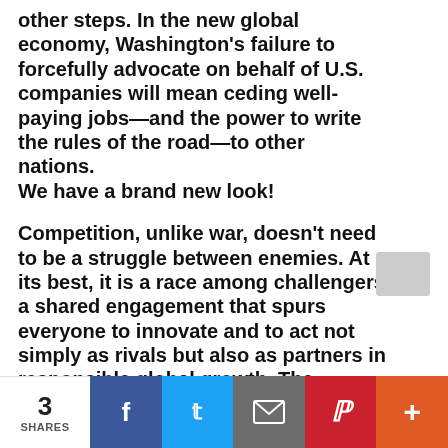other steps. In the new global economy, Washington's failure to forcefully advocate on behalf of U.S. companies will mean ceding well-paying jobs—and the power to write the rules of the road—to other nations. We have a brand new look!
Competition, unlike war, doesn't need to be a struggle between enemies. At its best, it is a race among challengers, a shared engagement that spurs everyone to innovate and to act not simply as rivals but also as partners in responsible global growth. The
3 SHARES  [Facebook] [Twitter] [Email] [Pinterest] [More]